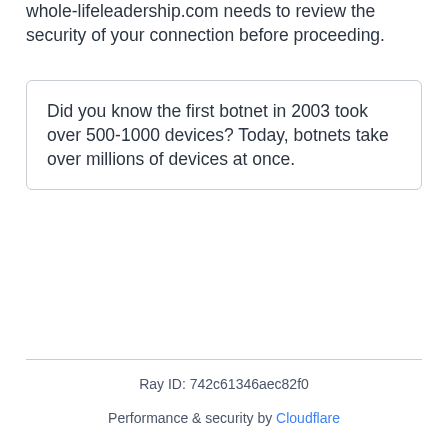whole-lifeleadership.com needs to review the security of your connection before proceeding.
Did you know the first botnet in 2003 took over 500-1000 devices? Today, botnets take over millions of devices at once.
Ray ID: 742c61346aec82f0
Performance & security by Cloudflare